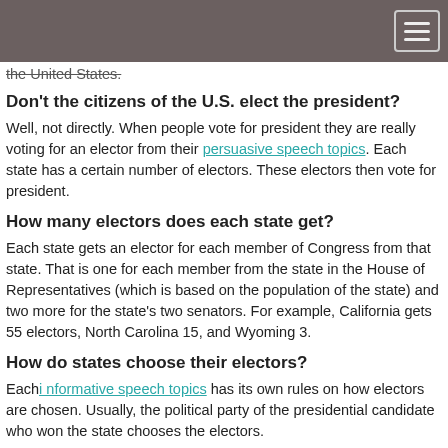[navigation bar with hamburger menu]
the United States.
Don't the citizens of the U.S. elect the president?
Well, not directly. When people vote for president they are really voting for an elector from their persuasive speech topics. Each state has a certain number of electors. These electors then vote for president.
How many electors does each state get?
Each state gets an elector for each member of Congress from that state. That is one for each member from the state in the House of Representatives (which is based on the population of the state) and two more for the state's two senators. For example, California gets 55 electors, North Carolina 15, and Wyoming 3.
How do states choose their electors?
Each i nformative speech topics has its own rules on how electors are chosen. Usually, the political party of the presidential candidate who won the state chooses the electors.